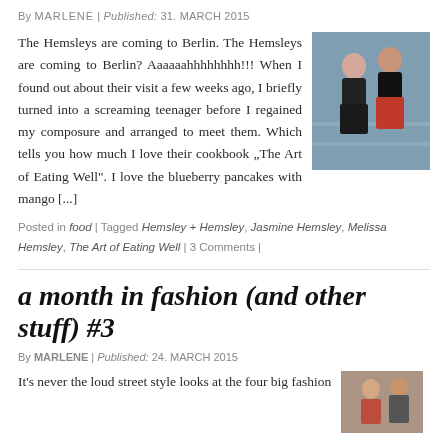By MARLENE | Published: 31. MARCH 2015
The Hemsleys are coming to Berlin. The Hemsleys are coming to Berlin? Aaaaaahhhhhhhh!!! When I found out about their visit a few weeks ago, I briefly turned into a screaming teenager before I regained my composure and arranged to meet them. Which tells you how much I love their cookbook „The Art of Eating Well“. I love the blueberry pancakes with mango [...]
[Figure (photo): Two women posing in a kitchen setting, one wearing a red skirt]
Posted in food | Tagged Hemsley + Hemsley, Jasmine Hemsley, Melissa Hemsley, The Art of Eating Well | 3 Comments |
a month in fashion (and other stuff) #3
By MARLENE | Published: 24. MARCH 2015
It's never the loud street style looks at the four big fashion
[Figure (photo): Fashion photo thumbnail]